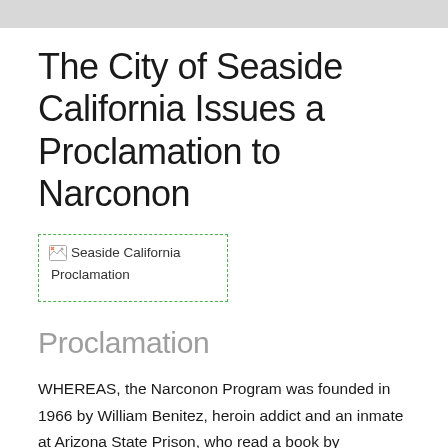The City of Seaside California Issues a Proclamation to Narconon
[Figure (photo): Broken image placeholder labeled 'Seaside California Proclamation']
Proclamation
WHEREAS, the Narconon Program was founded in 1966 by William Benitez, heroin addict and an inmate at Arizona State Prison, who read a book by Humanitarian and Author, L. Ron Hubbard, which helped Mr. Benitez with the technology to start the